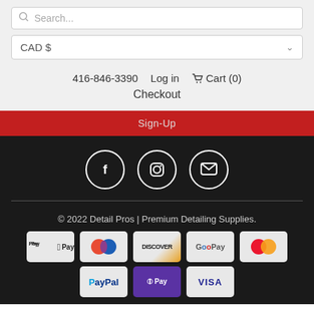Search...
CAD $
416-846-3390   Log in   Cart (0)   Checkout
Sign-Up
[Figure (infographic): Three social media icon circles: Facebook (f), Instagram (camera), Email (envelope)]
© 2022 Detail Pros | Premium Detailing Supplies.
[Figure (infographic): Payment method icons: Apple Pay, Diners Club, Discover, Google Pay, Mastercard, PayPal, Apple Pay (0 Pay), Visa]